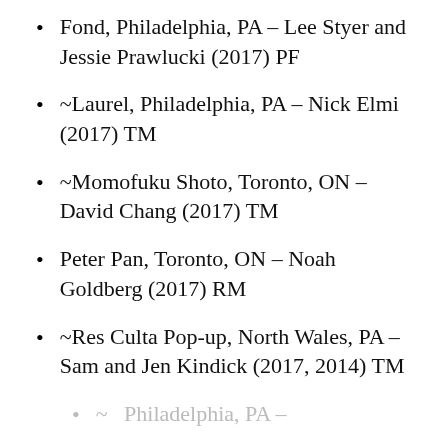Fond, Philadelphia, PA – Lee Styer and Jessie Prawlucki (2017) PF
~Laurel, Philadelphia, PA – Nick Elmi (2017) TM
~Momofuku Shoto, Toronto, ON – David Chang (2017) TM
Peter Pan, Toronto, ON – Noah Goldberg (2017) RM
~Res Culta Pop-up, North Wales, PA – Sam and Jen Kindick (2017, 2014) TM